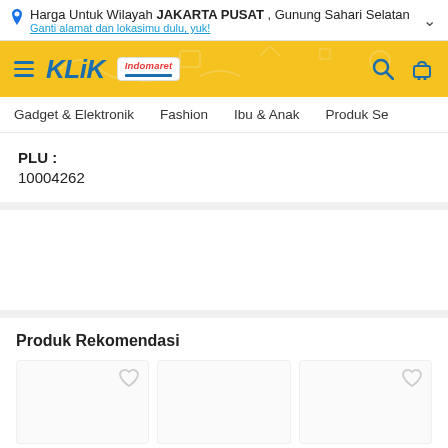Harga Untuk Wilayah JAKARTA PUSAT , Gunung Sahari Selatan
Ganti alamat dan lokasimu dulu, yuk!
[Figure (screenshot): KlikIndomaret website navigation bar with hamburger menu, KLIK Indomaret logo, search icon, and cart icon on yellow background]
Gadget & Elektronik   Fashion   Ibu & Anak   Produk Se
PLU :
10004262
Produk Rekomendasi